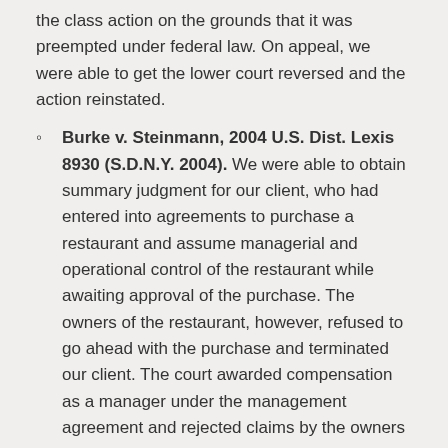the class action on the grounds that it was preempted under federal law. On appeal, we were able to get the lower court reversed and the action reinstated.
Burke v. Steinmann, 2004 U.S. Dist. Lexis 8930 (S.D.N.Y. 2004). We were able to obtain summary judgment for our client, who had entered into agreements to purchase a restaurant and assume managerial and operational control of the restaurant while awaiting approval of the purchase. The owners of the restaurant, however, refused to go ahead with the purchase and terminated our client. The court awarded compensation as a manager under the management agreement and rejected claims by the owners that it was entitled to damages for our client's handling of the